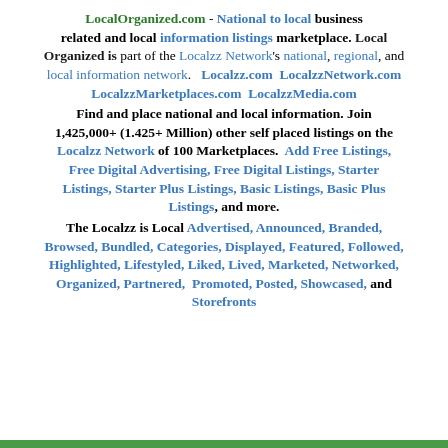LocalOrganized.com - National to local business related and local information listings marketplace. Local Organized is part of the Localzz Network's national, regional, and local information network. Localzz.com LocalzzNetwork.com LocalzzMarketplaces.com LocalzzMedia.com Find and place national and local information. Join 1,425,000+ (1.425+ Million) other self placed listings on the Localzz Network of 100 Marketplaces. Add Free Listings, Free Digital Advertising, Free Digital Listings, Starter Listings, Starter Plus Listings, Basic Listings, Basic Plus Listings, and more. The Localzz is Local Advertised, Announced, Branded, Browsed, Bundled, Categories, Displayed, Featured, Followed, Highlighted, Lifestyled, Liked, Lived, Marketed, Networked, Organized, Partnered, Promoted, Posted, Showcased, and Storefronts